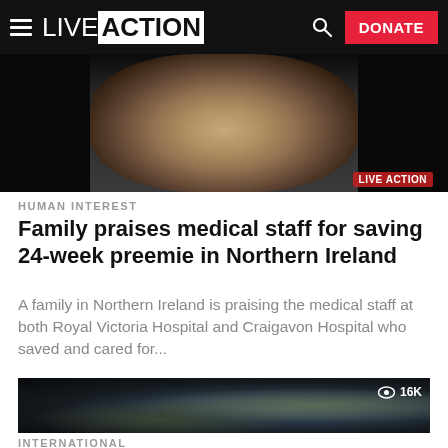LIVE ACTION | DONATE
[Figure (photo): Premature baby in hospital NICU with medical equipment]
HUMAN INTEREST
Family praises medical staff for saving 24-week preemie in Northern Ireland
A family in Northern Ireland is praising the medical staff at both Royal Victoria Hospital and Craigavon Hospital who saved and cared for...
[Figure (photo): Ultrasound image with 16K view count overlay]
INTERNATIONAL